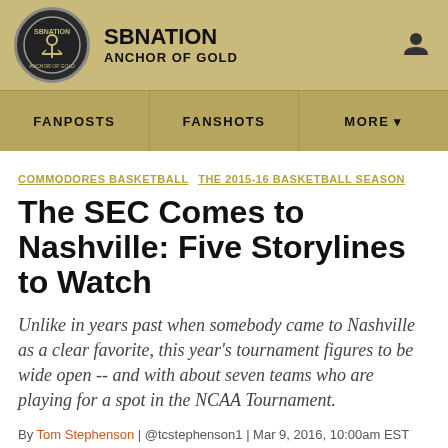SBNATION ANCHOR OF GOLD
FANPOSTS | FANSHOTS | MORE
COMMODORES BASKETBALL  THE 2015-16 BASKETBALL SEASON
The SEC Comes to Nashville: Five Storylines to Watch
Unlike in years past when somebody came to Nashville as a clear favorite, this year's tournament figures to be wide open -- and with about seven teams who are playing for a spot in the NCAA Tournament.
By Tom Stephenson | @tcstephenson1 | Mar 9, 2016, 10:00am EST